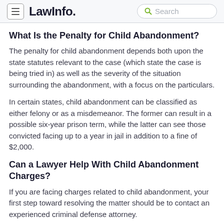LawInfo. Search
What Is the Penalty for Child Abandonment?
The penalty for child abandonment depends both upon the state statutes relevant to the case (which state the case is being tried in) as well as the severity of the situation surrounding the abandonment, with a focus on the particulars.
In certain states, child abandonment can be classified as either felony or as a misdemeanor. The former can result in a possible six-year prison term, while the latter can see those convicted facing up to a year in jail in addition to a fine of $2,000.
Can a Lawyer Help With Child Abandonment Charges?
If you are facing charges related to child abandonment, your first step toward resolving the matter should be to contact an experienced criminal defense attorney.